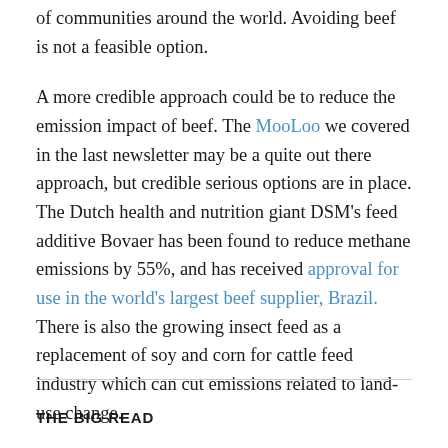of communities around the world. Avoiding beef is not a feasible option.
A more credible approach could be to reduce the emission impact of beef. The MooLoo we covered in the last newsletter may be a quite out there approach, but credible serious options are in place. The Dutch health and nutrition giant DSM's feed additive Bovaer has been found to reduce methane emissions by 55%, and has received approval for use in the world's largest beef supplier, Brazil. There is also the growing insect feed as a replacement of soy and corn for cattle feed industry which can cut emissions related to land-use change.
THE BIG READ